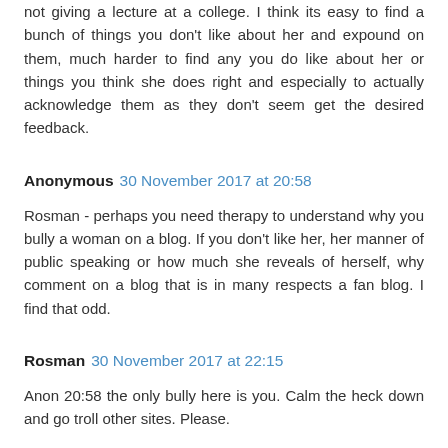not giving a lecture at a college. I think its easy to find a bunch of things you don't like about her and expound on them, much harder to find any you do like about her or things you think she does right and especially to actually acknowledge them as they don't seem get the desired feedback.
Anonymous 30 November 2017 at 20:58
Rosman - perhaps you need therapy to understand why you bully a woman on a blog. If you don't like her, her manner of public speaking or how much she reveals of herself, why comment on a blog that is in many respects a fan blog. I find that odd.
Rosman 30 November 2017 at 22:15
Anon 20:58 the only bully here is you. Calm the heck down and go troll other sites. Please.